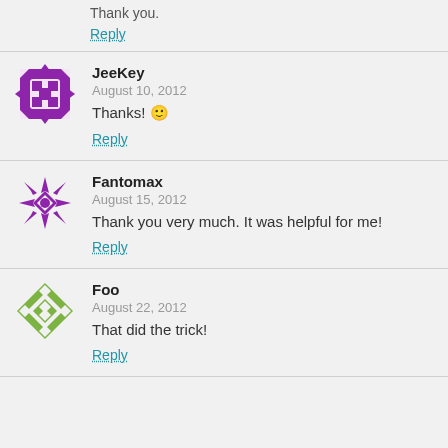Reply
JeeKey
August 10, 2012
Thanks! 🙂
Reply
Fantomax
August 15, 2012
Thank you very much. It was helpful for me!
Reply
Foo
August 22, 2012
That did the trick!
Reply